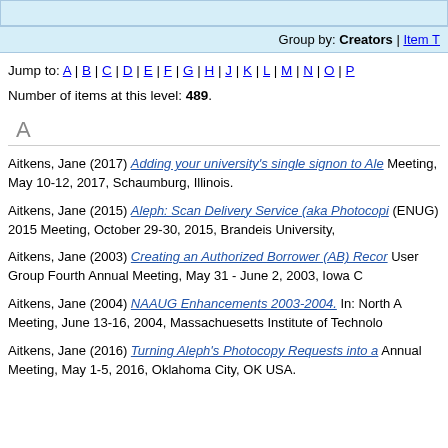Group by: Creators | Item T
Jump to: A | B | C | D | E | F | G | H | J | K | L | M | N | O | P
Number of items at this level: 489.
A
Aitkens, Jane (2017) Adding your university's single signon to Ale... Meeting, May 10-12, 2017, Schaumburg, Illinois.
Aitkens, Jane (2015) Aleph: Scan Delivery Service (aka Photocopi... (ENUG) 2015 Meeting, October 29-30, 2015, Brandeis University,
Aitkens, Jane (2003) Creating an Authorized Borrower (AB) Recor... User Group Fourth Annual Meeting, May 31 - June 2, 2003, Iowa C
Aitkens, Jane (2004) NAAUG Enhancements 2003-2004. In: North A... Meeting, June 13-16, 2004, Massachuesetts Institute of Technolo
Aitkens, Jane (2016) Turning Aleph's Photocopy Requests into a... Annual Meeting, May 1-5, 2016, Oklahoma City, OK USA.